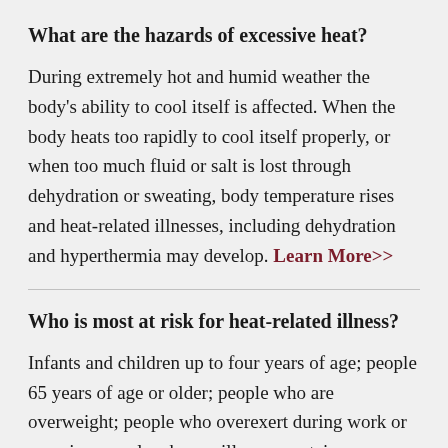What are the hazards of excessive heat?
During extremely hot and humid weather the body's ability to cool itself is affected. When the body heats too rapidly to cool itself properly, or when too much fluid or salt is lost through dehydration or sweating, body temperature rises and heat-related illnesses, including dehydration and hyperthermia may develop. Learn More>>
Who is most at risk for heat-related illness?
Infants and children up to four years of age; people 65 years of age or older; people who are overweight; people who overexert during work or exercise; people who are ill or on certain medications. Don't forget pets which are